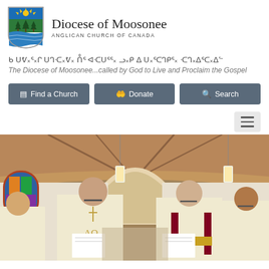[Figure (logo): Diocese of Moosonee coat of arms - shield with sun rays at top, three evergreen trees in middle, and water waves at bottom]
Diocese of Moosonee
ANGLICAN CHURCH OF CANADA
ᑲ ᑌᕓ᙮ᕐ᙮ᒋᑌ᙮ ᑌᒉᑡᐅᕓᒉ ᑕᓗᒥᕐ᙮ ᓗᑭᕐ᙮ᒥ᙮ ᓗᑭᕐ᙮ᑌᑕᐱᕐ᙮ᒋ᙮
The Diocese of Moosonee...called by God to Live and Proclaim the Gospel
[Figure (screenshot): Navigation buttons: Find a Church, Donate, Search]
[Figure (photo): Church interior with clergy in white robes reading from papers, wooden vaulted ceiling, stained glass window visible on left, pendant lights hanging from ceiling]